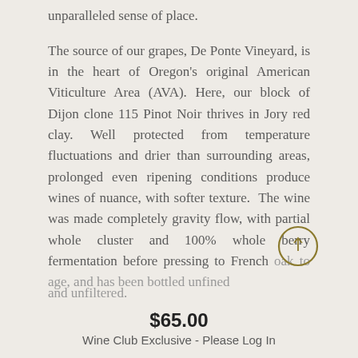unparalleled sense of place.
The source of our grapes, De Ponte Vineyard, is in the heart of Oregon's original American Viticulture Area (AVA). Here, our block of Dijon clone 115 Pinot Noir thrives in Jory red clay. Well protected from temperature fluctuations and drier than surrounding areas, prolonged even ripening conditions produce wines of nuance, with softer texture. The wine was made completely gravity flow, with partial whole cluster and 100% whole berry fermentation before pressing to French oak to age, and has been bottled unfined and unfiltered.
$65.00
Wine Club Exclusive - Please Log In